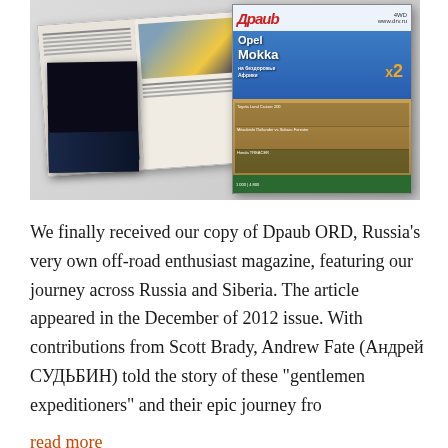[Figure (photo): Photo of a Russian off-road enthusiast magazine called 'Драив ORD' showing the magazine cover featuring an Opel Mokka and several open spread pages laid out on a surface.]
We finally received our copy of Dpaub ORD, Russia's very own off-road enthusiast magazine, featuring our journey across Russia and Siberia. The article appeared in the December of 2012 issue. With contributions from Scott Brady, Andrew Fate (Андрей СУДЬБИН) told the story of these "gentlemen expeditioners" and their epic journey fro
read more